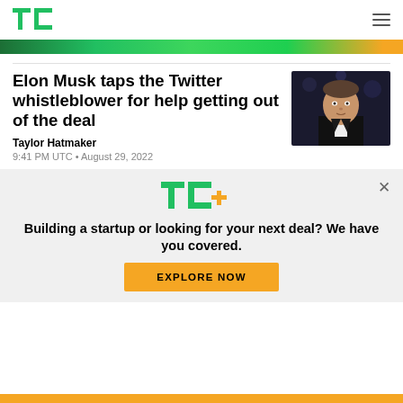TechCrunch
[Figure (other): Green gradient banner bar]
Elon Musk taps the Twitter whistleblower for help getting out of the deal
[Figure (photo): Photo of Elon Musk in formal wear at an event]
Taylor Hatmaker
9:41 PM UTC • August 29, 2022
[Figure (logo): TC+ logo]
Building a startup or looking for your next deal? We have you covered.
EXPLORE NOW